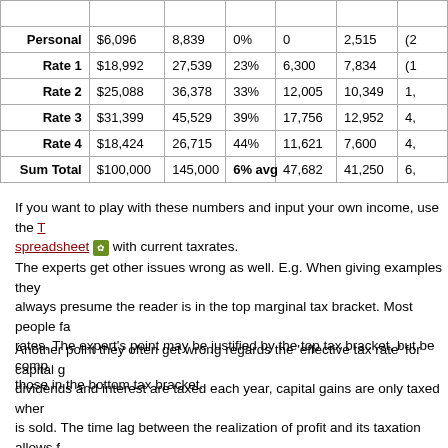|  |  |  |  |  |  | (...) |
| --- | --- | --- | --- | --- | --- | --- |
| Personal | $6,096 | 8,839 | 0% | 0 | 2,515 | (2... |
| Rate 1 | $18,992 | 27,539 | 23% | 6,300 | 7,834 | (1... |
| Rate 2 | $25,088 | 36,378 | 33% | 12,005 | 10,349 | 1,... |
| Rate 3 | $31,399 | 45,529 | 39% | 17,756 | 12,952 | 4,... |
| Rate 4 | $18,424 | 26,715 | 44% | 11,621 | 7,600 | 4,... |
| Sum Total | $100,000 | 145,000 | 6% avg | 47,682 | 41,250 | 6,... |
If you want to play with these numbers and input your own income, use the TaxBurden spreadsheet with current taxrates.
The experts get other issues wrong as well. E.g. When giving examples they always presume the reader is in the top marginal tax bracket. Most people face lower rates. The expert's point may be justified by the top tax bracket, but be completely wrong for those in the bottom tax bracket.
Another point they often get wrong regards the 'effective tax rate' for capital gains. While dividends and interest are taxed each year, capital gains are only taxed when an investment is sold. The time lag between the realization of profit and its taxation allows for reinvestment of the before-tax-profit. The longer the deferral, the lower your effective tax rate. On the same TaxBurden spreadsheet there is a tab at the bottom for a spread sheet calculating the effective tax rates for capital gains after a deferral.